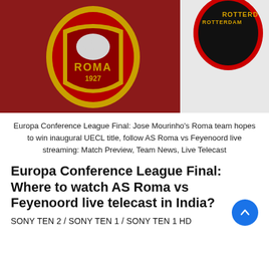[Figure (photo): Photo showing AS Roma football club badge (yellow and red, featuring a wolf and 'ROMA 1927') on a red fabric, alongside a partial view of the Feyenoord Rotterdam badge on white fabric.]
Europa Conference League Final: Jose Mourinho's Roma team hopes to win inaugural UECL title, follow AS Roma vs Feyenoord live streaming: Match Preview, Team News, Live Telecast
Europa Conference League Final: Where to watch AS Roma vs Feyenoord live telecast in India?
SONY TEN 2 / SONY TEN 1 / SONY TEN 1 HD